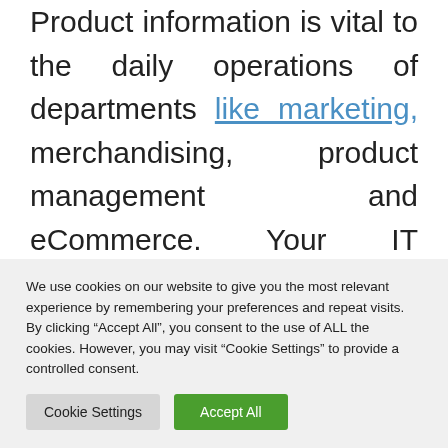Product information is vital to the daily operations of departments like marketing, merchandising, product management and eCommerce. Your IT infrastructure supports all these business areas. Managing it more efficiently creates tangible benefits across all departments. Therefore, PIM contributes to the overall efficiency of the business technology strategy. Powerful automation within a PIM
We use cookies on our website to give you the most relevant experience by remembering your preferences and repeat visits. By clicking “Accept All”, you consent to the use of ALL the cookies. However, you may visit “Cookie Settings” to provide a controlled consent.